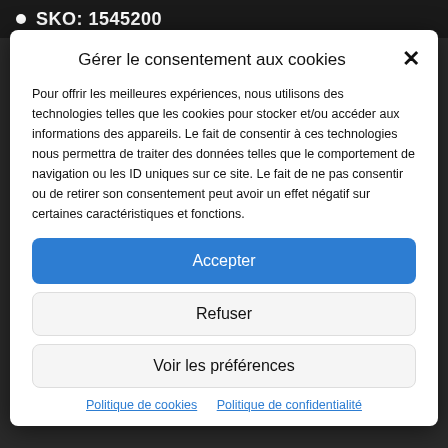SKO: 1545200
Gérer le consentement aux cookies
Pour offrir les meilleures expériences, nous utilisons des technologies telles que les cookies pour stocker et/ou accéder aux informations des appareils. Le fait de consentir à ces technologies nous permettra de traiter des données telles que le comportement de navigation ou les ID uniques sur ce site. Le fait de ne pas consentir ou de retirer son consentement peut avoir un effet négatif sur certaines caractéristiques et fonctions.
Accepter
Refuser
Voir les préférences
Politique de cookies   Politique de confidentialité